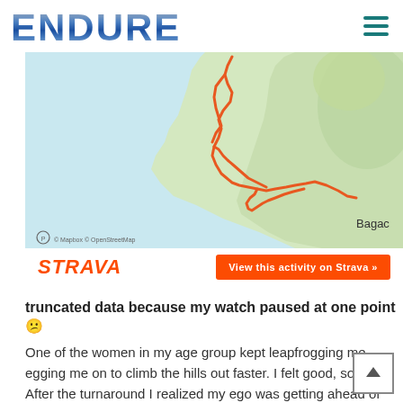ENDURE
[Figure (map): Strava route map showing an orange GPS track along a coastal area near Bagac, Philippines. The route traces along the coast with the sea visible as light blue on the left side and green terrain on the right. Map attribution shows Mapbox and OpenStreetMap.]
[Figure (screenshot): Strava activity embed showing STRAVA logo in orange italic text on the left and an orange 'View this activity on Strava »' button on the right.]
truncated data because my watch paused at one point 😕 One of the women in my age group kept leapfrogging me, egging me on to climb the hills out faster. I felt good, so I did. After the turnaround I realized my ego was getting ahead of me, so I moderated my pace and allowed her to overtake me. But the damage was done. I started feeling twinges in my legs that were